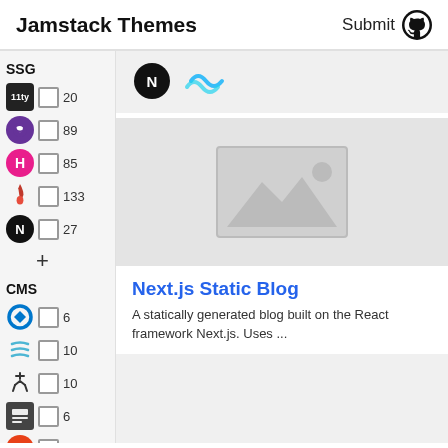Jamstack Themes   Submit
SSG
11ty  20
Gatsby  89
Hugo  85
Jekyll  133
Next  27
CMS
Contentful  6
Forestry  10
Sanity  10
Netlify CMS  6
DatoCMS  5
Craft  22
[Figure (screenshot): Card showing Next.js and Tailwind logos on a light gray background]
[Figure (illustration): Placeholder image with mountain landscape icon on gray background]
Next.js Static Blog
A statically generated blog built on the React framework Next.js. Uses ...